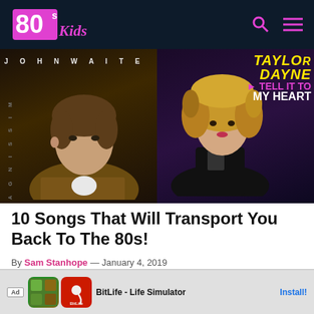80s Kids — navigation bar with logo, search and menu icons
[Figure (photo): Two 80s album covers side by side. Left: John Waite album cover showing a young man in a patterned jacket with text 'JOHN WAITE' across the top. Right: Taylor Dayne 'Tell It To My Heart' album cover showing a woman with big blonde hair in a black outfit.]
10 Songs That Will Transport You Back To The 80s!
By Sam Stanhope — January 4, 2019
I think all of us have a certain type of music... love and can listen to
[Figure (screenshot): Advertisement banner: Ad badge, two BitLife app icons, text 'BitLife - Life Simulator', Install button]